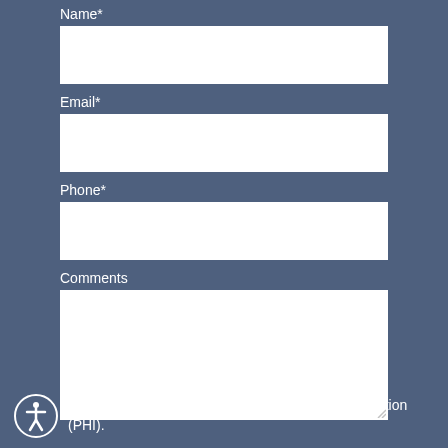Name*
[Figure (other): Empty text input box for Name field]
Email*
[Figure (other): Empty text input box for Email field]
Phone*
[Figure (other): Empty text input box for Phone field]
Comments
[Figure (other): Empty textarea for Comments field with resize handle]
Please do not submit any Protected Health Information (PHI).